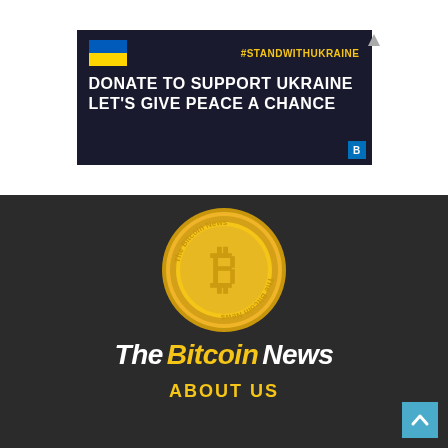[Figure (infographic): Dark navy advertisement banner with Ukraine flag, #STANDWITHUKRAINE hashtag in yellow, white bold text reading 'DONATE TO SUPPORT UKRAINE LET'S GIVE PEACE A CHANCE', and a blue B badge in the corner.]
[Figure (logo): The Bitcoin News logo: gold Bitcoin coin with text 'The Bitcoin News' around it, followed by site name text 'The Bitcoin News' in white and yellow italic bold font on dark background.]
ABOUT US